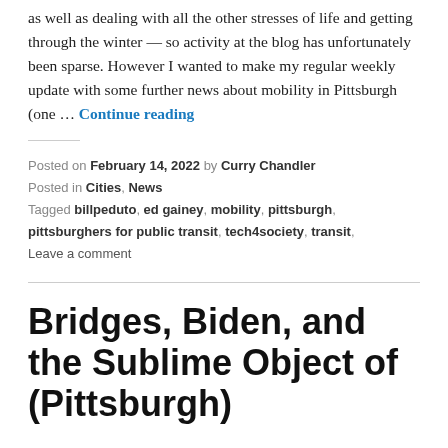as well as dealing with all the other stresses of life and getting through the winter — so activity at the blog has unfortunately been sparse. However I wanted to make my regular weekly update with some further news about mobility in Pittsburgh (one … Continue reading
Posted on February 14, 2022 by Curry Chandler
Posted in Cities, News
Tagged billpeduto, ed gainey, mobility, pittsburgh, pittsburghers for public transit, tech4society, transit,
Leave a comment
Bridges, Biden, and the Sublime Object of (Pittsburgh)